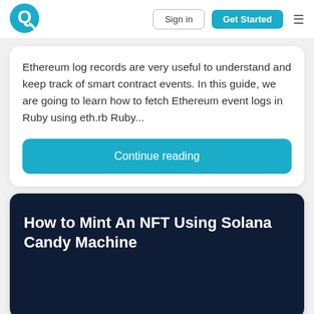[Figure (logo): Quicknode Q logo in blue circle style]
Sign in
Get Started
Ethereum log records are very useful to understand and keep track of smart contract events. In this guide, we are going to learn how to fetch Ethereum event logs in Ruby using eth.rb Ruby...
Continue reading
How to Mint An NFT Using Solana Candy Machine